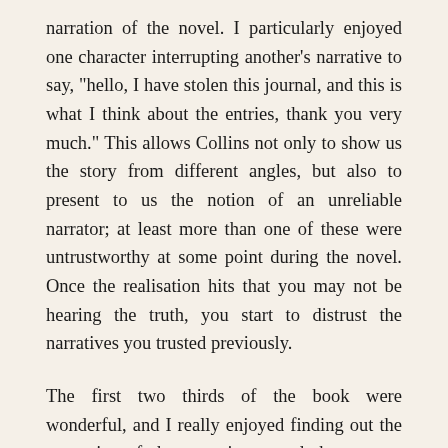narration of the novel. I particularly enjoyed one character interrupting another's narrative to say, "hello, I have stolen this journal, and this is what I think about the entries, thank you very much." This allows Collins not only to show us the story from different angles, but also to present to us the notion of an unreliable narrator; at least more than one of these were untrustworthy at some point during the novel. Once the realisation hits that you may not be hearing the truth, you start to distrust the narratives you trusted previously.
The first two thirds of the book were wonderful, and I really enjoyed finding out the mysteries of the conspiracy, and the reasons behind the strange goings on. After this point, Walter Hartright picks up the narrative again, and it all becomes quite dull. We know what's happened, and Walter is going about trying to prove it all. His narrative is incredibly dull compared to good old Marion's journal entries, and everything falls